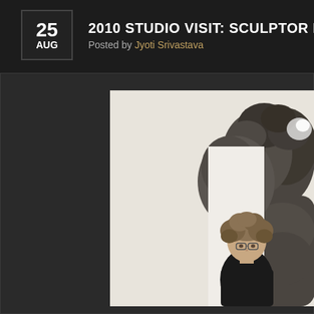2010 STUDIO VISIT: SCULPTOR RUTH AIZUSS MIGDA
Posted by Jyoti Srivastava
[Figure (photo): A woman with curly hair and glasses wearing a black shirt stands in front of a large dark bronze/stone sculpture in what appears to be an artist's studio. The sculpture has organic, rounded forms.]